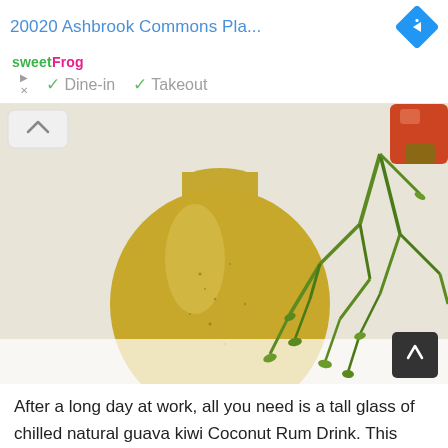20020 Ashbrook Commons Pla...
[Figure (logo): sweetFrog logo in green and pink text]
✓ Dine-in  ✓ Takeout
[Figure (photo): A yellow/golden round bottle or jar on a white surface, with green succulent plants and colorful decorative items in the upper right. The image appears to show a natural drink or sauce bottle.]
After a long day at work, all you need is a tall glass of chilled natural guava kiwi Coconut Rum Drink. This